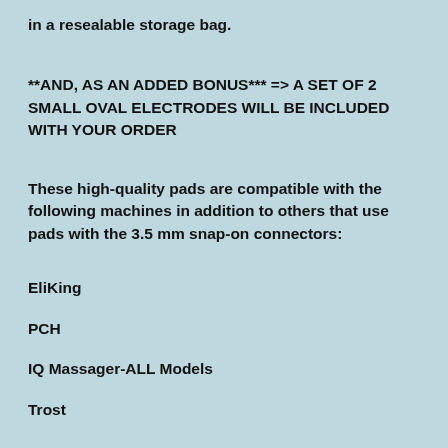in a resealable storage bag.
**AND, AS AN ADDED BONUS*** => A SET OF 2 SMALL OVAL ELECTRODES WILL BE INCLUDED WITH YOUR ORDER
These high-quality pads are compatible with the following machines in addition to others that use pads with the 3.5 mm snap-on connectors:
EliKing
PCH
IQ Massager-ALL Models
Trost